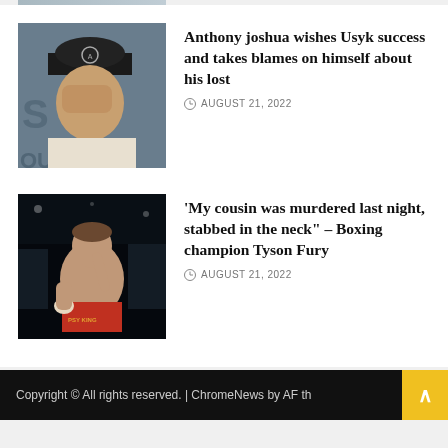[Figure (photo): Cropped top of a previous article image, partially visible at top of page]
[Figure (photo): Anthony Joshua with hand over face, wearing black cap with logo, distressed expression]
Anthony joshua wishes Usyk success and takes blames on himself about his lost
AUGUST 21, 2022
[Figure (photo): Tyson Fury shirtless, wearing red boxing shorts labeled GYPSY KING, pointing finger upward, arena crowd behind him]
‘My cousin was murdered last night, stabbed in the neck” – Boxing champion Tyson Fury
AUGUST 21, 2022
Copyright © All rights reserved. | ChromeNews by AF th